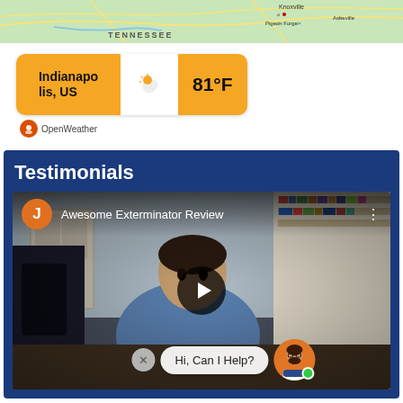[Figure (map): Map showing Tennessee area with cities including Knoxville, Pigeon Forge, and Asheville]
[Figure (screenshot): OpenWeather widget showing Indianapolis, US weather at 81°F with partly cloudy icon]
Testimonials
[Figure (screenshot): YouTube video thumbnail titled 'Awesome Exterminator Review' showing a man in a blue shirt sitting in front of a bookshelf, with a play button overlay and a chat widget saying 'Hi, Can I Help?']